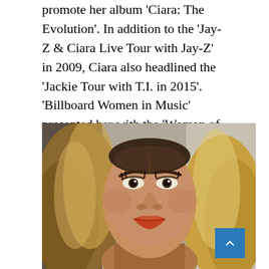promote her album 'Ciara: The Evolution'. In addition to the 'Jay-Z & Ciara Live Tour with Jay-Z' in 2009, Ciara also headlined the 'Jackie Tour with T.I. in 2015'. 'Billboard Women in Music' presented her with the 'Woman of the Year award in October 2008 for her achievements as a recording artist.
[Figure (photo): Close-up portrait photo of Ciara, a woman with long blonde highlighted hair, arched eyebrows, heavy eye makeup, and orange-red lipstick, looking directly at the camera.]